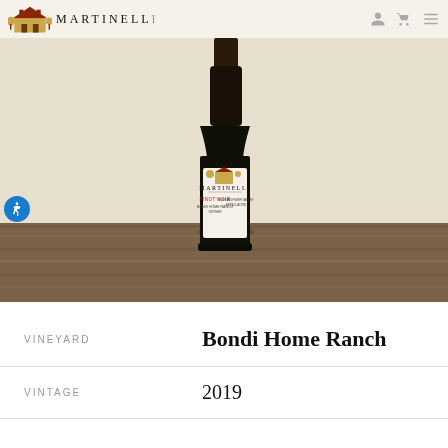MARTINELLI
[Figure (photo): Martinelli wine bottle (Pinot Noir, Bondi Home Ranch) standing on a wooden surface against a light background. The bottle has a dark glass with a white label showing the Martinelli logo and text.]
| Field | Value |
| --- | --- |
| VINEYARD | Bondi Home Ranch |
| VINTAGE | 2019 |